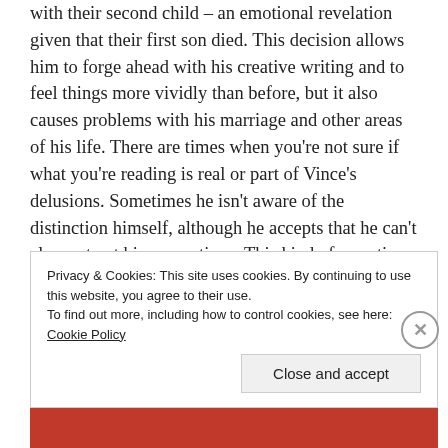with their second child – an emotional revelation given that their first son died. This decision allows him to forge ahead with his creative writing and to feel things more vividly than before, but it also causes problems with his marriage and other areas of his life. There are times when you're not sure if what you're reading is real or part of Vince's delusions. Sometimes he isn't aware of the distinction himself, although he accepts that he can't always trust his perceptions. This kind of narrative gives a great insight into what it's like to live with bipolar. It reminded me of The Shock of the Fall by Nathan Filer.
Privacy & Cookies: This site uses cookies. By continuing to use this website, you agree to their use. To find out more, including how to control cookies, see here: Cookie Policy
Close and accept